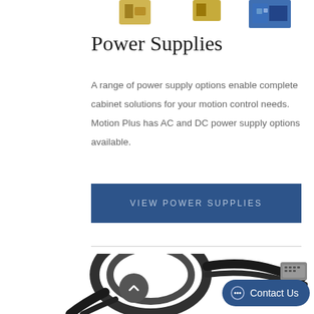[Figure (photo): Partial view of three product images (hardware components / power supply units) cropped at the top of the page]
Power Supplies
A range of power supply options enable complete cabinet solutions for your motion control needs. Motion Plus has AC and DC power supply options available.
VIEW POWER SUPPLIES
[Figure (photo): Cables/wiring harness with connectors, partially visible at the bottom of the page]
Contact Us